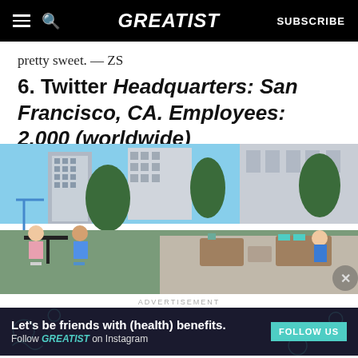GREATIST | SUBSCRIBE
pretty sweet. — ZS
6. Twitter Headquarters: San Francisco, CA. Employees: 2,000 (worldwide)
[Figure (photo): Rooftop outdoor lounge area with grass, patio furniture, and a view of San Francisco city buildings under a blue sky. Several people are seated at tables and chairs.]
ADVERTISEMENT
[Figure (infographic): Advertisement banner: Let's be friends with (health) benefits. Follow GREATIST on Instagram. FOLLOW US button.]